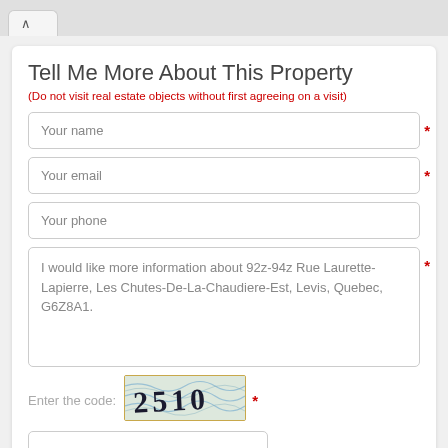Tell Me More About This Property
(Do not visit real estate objects without first agreeing on a visit)
Your name
Your email
Your phone
I would like more information about 92z-94z Rue Laurette-Lapierre, Les Chutes-De-La-Chaudiere-Est, Levis, Quebec, G6Z8A1.
Enter the code:
[Figure (screenshot): CAPTCHA image showing the code '2510' with wavy blue lines in the background on a light green/white background with yellow/gold border]